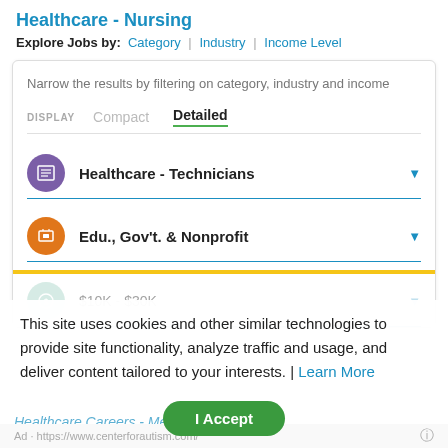Healthcare - Nursing
Explore Jobs by: Category | Industry | Income Level
Narrow the results by filtering on category, industry and income
DISPLAY   Compact   Detailed
Healthcare - Technicians
Edu., Gov't. & Nonprofit
$10K - $30K
This site uses cookies and other similar technologies to provide site functionality, analyze traffic and usage, and deliver content tailored to your interests. | Learn More
Ad · https://www.centerforautism.com/
Healthcare Careers - Medical Job